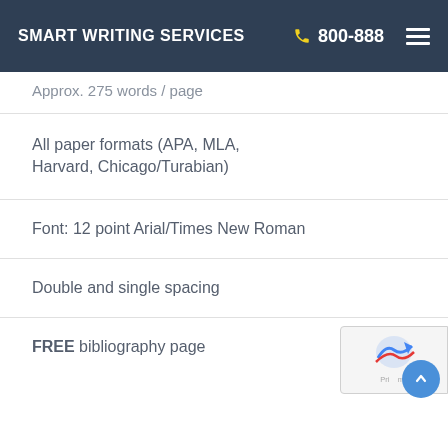SMART WRITING SERVICES  800-888
Approx. 275 words / page
All paper formats (APA, MLA, Harvard, Chicago/Turabian)
Font: 12 point Arial/Times New Roman
Double and single spacing
FREE bibliography page